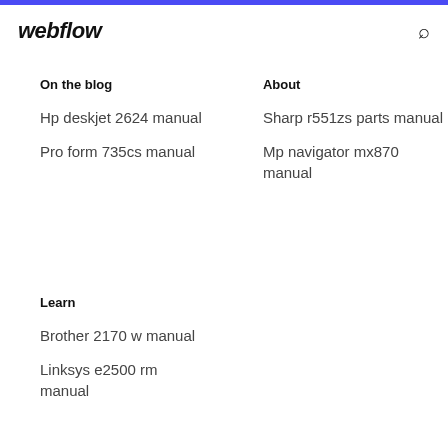webflow
On the blog
About
Hp deskjet 2624 manual
Pro form 735cs manual
Sharp r551zs parts manual
Mp navigator mx870 manual
Learn
Brother 2170 w manual
Linksys e2500 rm manual